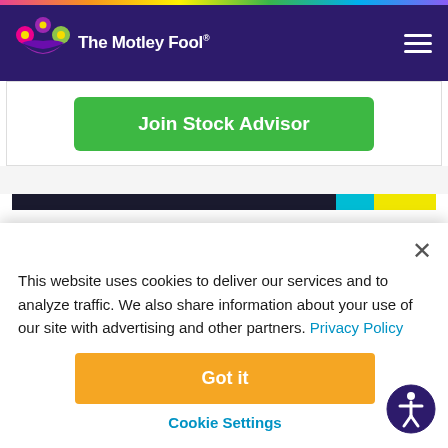The Motley Fool
[Figure (logo): The Motley Fool logo with jester hat in pink, purple, and green]
Join Stock Advisor
This website uses cookies to deliver our services and to analyze traffic. We also share information about your use of our site with advertising and other partners. Privacy Policy
Got it
Cookie Settings